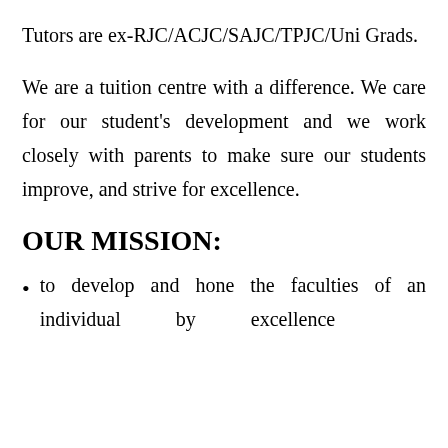Tutors are ex-RJC/ACJC/SAJC/TPJC/Uni Grads.
We are a tuition centre with a difference. We care for our student's development and we work closely with parents to make sure our students improve, and strive for excellence.
OUR MISSION:
to develop and hone the faculties of an individual by excellence